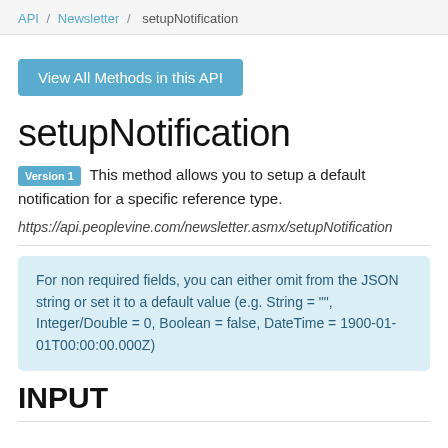API / Newsletter / setupNotification
View All Methods in this API
setupNotification
Version 1  This method allows you to setup a default notification for a specific reference type.
https://api.peoplevine.com/newsletter.asmx/setupNotification
For non required fields, you can either omit from the JSON string or set it to a default value (e.g. String = "", Integer/Double = 0, Boolean = false, DateTime = 1900-01-01T00:00:00.000Z)
INPUT